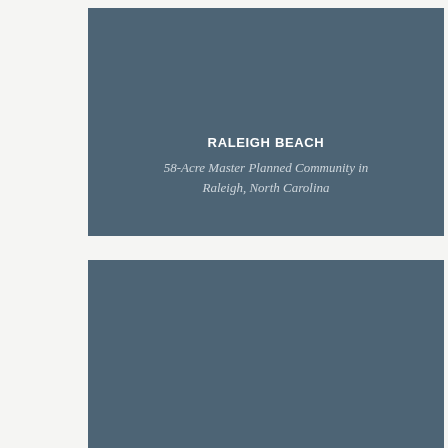[Figure (photo): Top rectangular panel with slate blue/grey background containing the Raleigh Beach title text]
RALEIGH BEACH
58-Acre Master Planned Community in Raleigh, North Carolina
[Figure (photo): Bottom rectangular panel with slate blue/grey background, no visible text content]